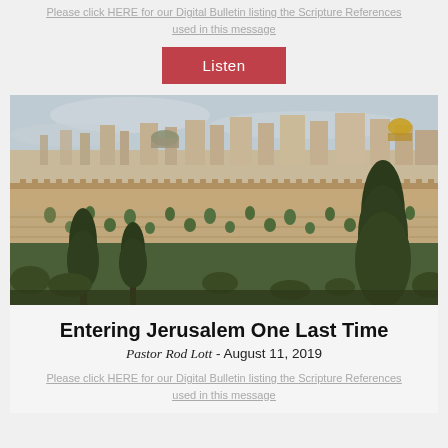Please click HERE for our Digital Bulletin listing the Scripture References used in this message
Listen
[Figure (photo): Aerial/panoramic view of Jerusalem's Old City with ancient walls, the Dome of the Rock, surrounding cemetery terraces, cypress trees, and golden stone buildings under a cloudy sky.]
Entering Jerusalem One Last Time
Pastor Rod Lott - August 11, 2019
Please click HERE for our Digital Bulletin listing the Scripture References used in this message